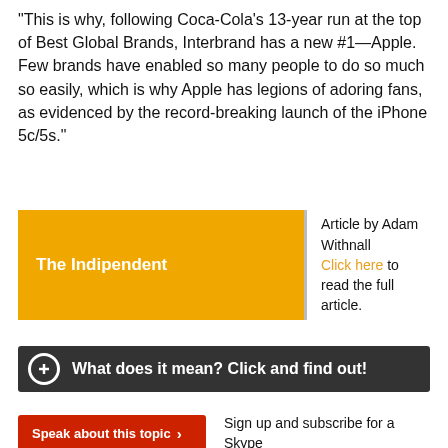“This is why, following Coca-Cola’s 13-year run at the top of Best Global Brands, Interbrand has a new #1—Apple. Few brands have enabled so many people to do so much so easily, which is why Apple has legions of adoring fans, as evidenced by the record-breaking launch of the iPhone 5c/5s.”
[Figure (other): Golden badge reading 'The Indipendent' next to attribution text: 'Article by Adam Withnall. Click here to read the full article.']
What does it mean? Click and find out!
Speak about this topic  >   Sign up and subscribe for a Skype…